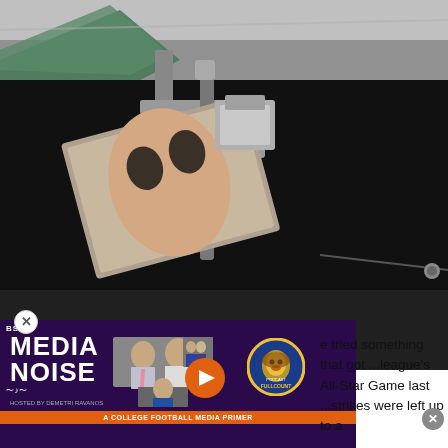[Figure (photo): A large broadcast camera or display screen mounted on a mechanical arm bracket against a dark stadium ceiling interior]
[Figure (other): BSM Media Noise podcast advertisement overlay with hosts photos, play button, podcast logo, and college football media primer banner]
...he tried something that got ...league's All-Star Game last ...strikes were left up to a